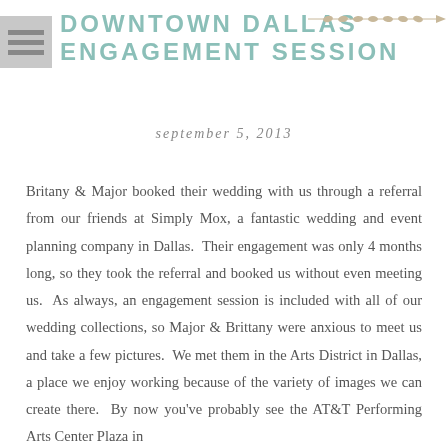DOWNTOWN DALLAS ENGAGEMENT SESSION
september 5, 2013
Britany & Major booked their wedding with us through a referral from our friends at Simply Mox, a fantastic wedding and event planning company in Dallas.  Their engagement was only 4 months long, so they took the referral and booked us without even meeting us.  As always, an engagement session is included with all of our wedding collections, so Major & Brittany were anxious to meet us and take a few pictures.  We met them in the Arts District in Dallas, a place we enjoy working because of the variety of images we can create there.  By now you've probably see the AT&T Performing Arts Center Plaza in